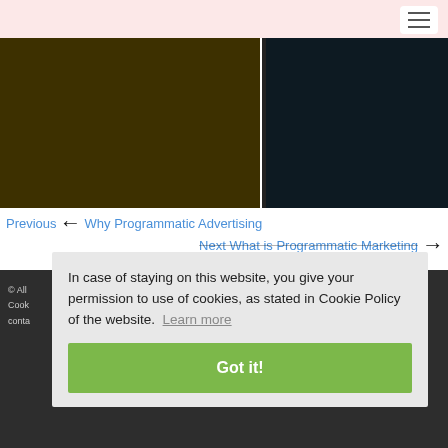[Figure (screenshot): Dark image area showing two panels — left panel with dark olive/brown color (#3d3000) and right panel with very dark navy/black (#0d1a22), separated by a dark divider. Appears to be a decorative header image for a blog post about Programmatic Advertising.]
← Previous Why Programmatic Advertising
Next What is Programmatic Marketing →
In case of staying on this website, you give your permission to use of cookies, as stated in Cookie Policy of the website. Learn more
Got it!
© All ... Cookie... conta...